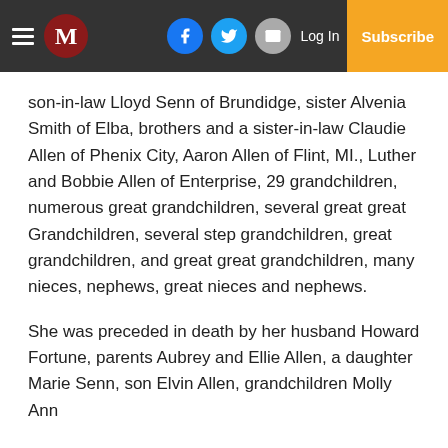M | Log In | Subscribe
son-in-law Lloyd Senn of Brundidge, sister Alvenia Smith of Elba, brothers and a sister-in-law Claudie Allen of Phenix City, Aaron Allen of Flint, MI., Luther and Bobbie Allen of Enterprise, 29 grandchildren, numerous great grandchildren, several great great Grandchildren, several step grandchildren, great grandchildren, and great great grandchildren, many nieces, nephews, great nieces and nephews.
She was preceded in death by her husband Howard Fortune, parents Aubrey and Ellie Allen, a daughter Marie Senn, son Elvin Allen, grandchildren Molly Ann